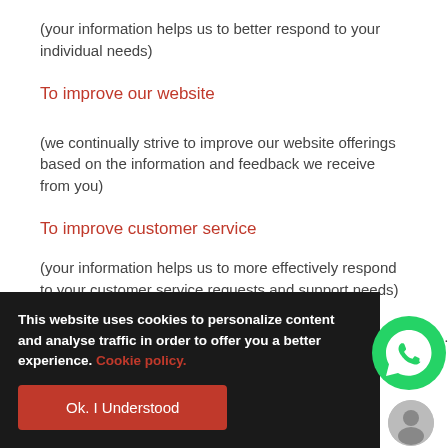(your information helps us to better respond to your individual needs)
To improve our website
(we continually strive to improve our website offerings based on the information and feedback we receive from you)
To improve customer service
(your information helps us to more effectively respond to your customer service requests and support needs)
. will
This website uses cookies to personalize content and analyse traffic in order to offer you a better experience. Cookie policy.
Ok. I Understood